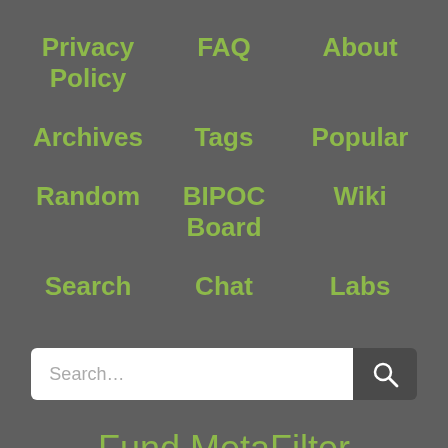Privacy Policy
FAQ
About
Archives
Tags
Popular
Random
BIPOC Board
Wiki
Search
Chat
Labs
[Figure (screenshot): Search input box with placeholder text 'Search...' and a dark search button with magnifying glass icon]
Fund MetaFilter
Join 6,757 readers in helping fund MetaFilter
Contact Us